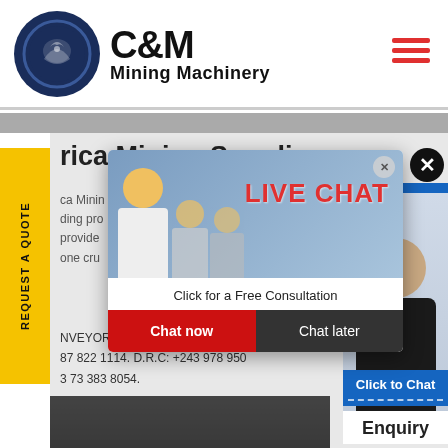[Figure (logo): C&M Mining Machinery logo: circular dark blue emblem with eagle/gear graphic, bold text 'C&M' and 'Mining Machinery' beside it]
[Figure (screenshot): Website screenshot of C&M Mining Machinery Africa Mining Supplies page with a live chat popup overlay showing workers in hard hats, 'LIVE CHAT' text in red, 'Click for a Free Consultation', Chat now and Chat later buttons. Yellow REQUEST A QUOTE side tab on left. Blue Hours/Online panel and chat agent photo on right. Contact numbers visible.]
rica Mining Supplies
ca Minin
ding pro
provide
one cru
NVEYOR SYSTEMS. SOUTH AFRIC
87 822 1114. D.R.C: +243 978 950
3 73 383 8054.
LIVE CHAT
Click for a Free Consultation
Chat now
Chat later
Hours
line
REQUEST A QUOTE
Click to Chat
Enquiry